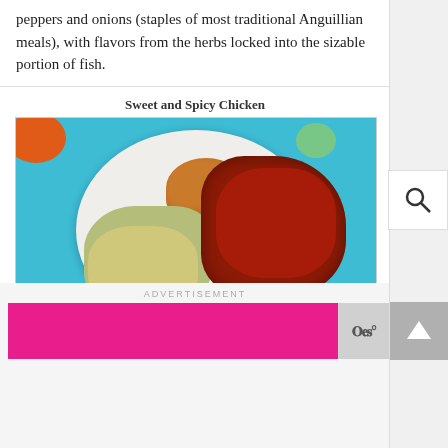peppers and onions (staples of most traditional Anguillian meals), with flavors from the herbs locked into the sizable portion of fish.
Sweet and Spicy Chicken
[Figure (photo): A white plate with sweet and spicy glazed red chicken pieces, a mound of orange rice, and green pasta salad with creamy dressing, set on a teal/turquoise surface.]
ADVERTISEMENT
[Figure (photo): Hot pink advertisement banner with a gray logo box to the right showing stylized text.]